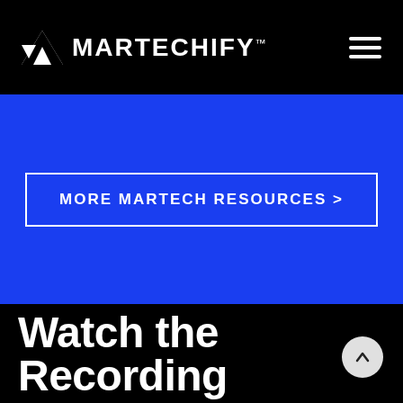MARTECHIFY
[Figure (other): Blue call-to-action section with button labeled MORE MARTECH RESOURCES >]
Watch the Recording